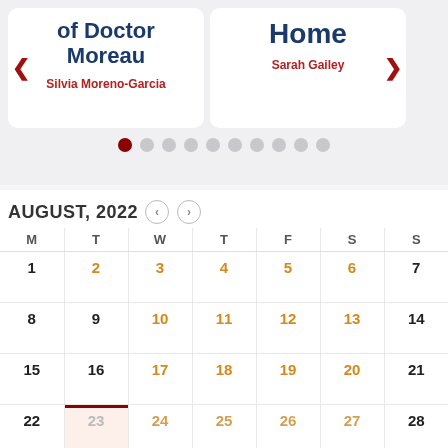[Figure (screenshot): Carousel card showing book 'of Doctor Moreau' by Silvia Moreno-Garcia with left navigation arrow]
[Figure (screenshot): Carousel card showing book 'Home' by Sarah Gailey with right navigation arrow]
[Figure (other): Carousel dot indicators, 10 dots, first one active (dark red)]
AUGUST, 2022
| M | T | W | T | F | S | S |
| --- | --- | --- | --- | --- | --- | --- |
| 1 | 2 | 3 | 4 | 5 | 6 | 7 |
| 8 | 9 | 10 | 11 | 12 | 13 | 14 |
| 15 | 16 | 17 | 18 | 19 | 20 | 21 |
| 22 | 23 | 24 | 25 | 26 | 27 | 28 |
| 29 | 30 | 31 |  |  |  |  |